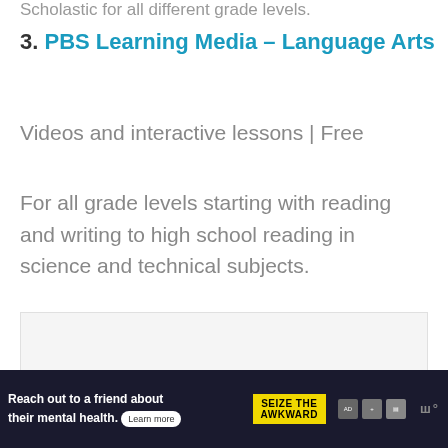Scholastic for all different grade levels.
3. PBS Learning Media – Language Arts
Videos and interactive lessons | Free
For all grade levels starting with reading and writing to high school reading in science and technical subjects.
[Figure (other): Empty light gray image placeholder box]
[Figure (other): Advertisement banner: 'Reach out to a friend about their mental health. Learn more' with SEIZE THE AWKWARD branding and logos on dark navy background]